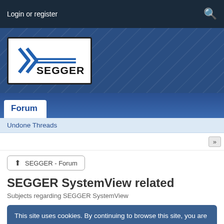Login or register
[Figure (logo): SEGGER logo - blue chevron arrows with SEGGER text in black, white background with black border]
Forum
Undone Threads
SEGGER - Forum
SEGGER SystemView related
Subjects regarding SEGGER SystemView
This site uses cookies. By continuing to browse this site, you are agreeing to our Cookie Policy.
« Page 1 of 14  14  »